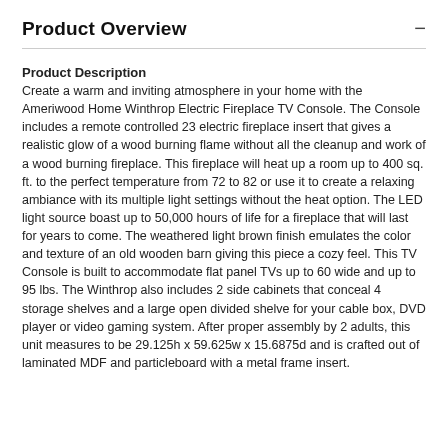Product Overview
Product Description
Create a warm and inviting atmosphere in your home with the Ameriwood Home Winthrop Electric Fireplace TV Console. The Console includes a remote controlled 23 electric fireplace insert that gives a realistic glow of a wood burning flame without all the cleanup and work of a wood burning fireplace. This fireplace will heat up a room up to 400 sq. ft. to the perfect temperature from 72 to 82 or use it to create a relaxing ambiance with its multiple light settings without the heat option. The LED light source boast up to 50,000 hours of life for a fireplace that will last for years to come. The weathered light brown finish emulates the color and texture of an old wooden barn giving this piece a cozy feel. This TV Console is built to accommodate flat panel TVs up to 60 wide and up to 95 lbs. The Winthrop also includes 2 side cabinets that conceal 4 storage shelves and a large open divided shelve for your cable box, DVD player or video gaming system. After proper assembly by 2 adults, this unit measures to be 29.125h x 59.625w x 15.6875d and is crafted out of laminated MDF and particleboard with a metal frame insert.